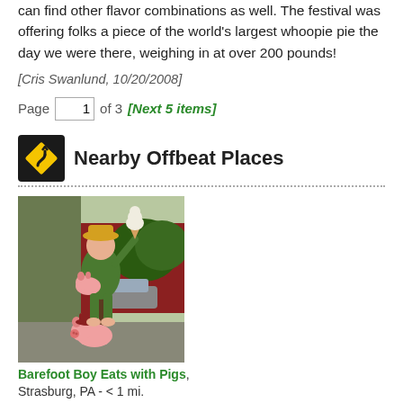can find other flavor combinations as well. The festival was offering folks a piece of the world's largest whoopie pie the day we were there, weighing in at over 200 pounds!
[Cris Swanlund, 10/20/2008]
Page 1 of 3 [Next 5 items]
Nearby Offbeat Places
[Figure (photo): Photo of large outdoor statues: a barefoot boy holding a pig and an ice cream cone, with smaller pig statue in front, outside a restaurant.]
Barefoot Boy Eats with Pigs, Strasburg, PA - < 1 mi.